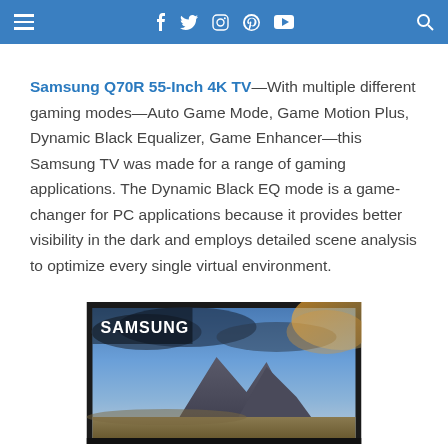Navigation bar with hamburger menu, social icons (f, twitter, instagram, pinterest, youtube) and search
Samsung Q70R 55-Inch 4K TV—With multiple different gaming modes—Auto Game Mode, Game Motion Plus, Dynamic Black Equalizer, Game Enhancer—this Samsung TV was made for a range of gaming applications. The Dynamic Black EQ mode is a game-changer for PC applications because it provides better visibility in the dark and employs detailed scene analysis to optimize every single virtual environment.
[Figure (photo): Samsung Q70R 55-Inch 4K TV product photo showing the TV displaying a dramatic landscape with mountains and clouds, Samsung logo visible in top left corner of the TV frame.]